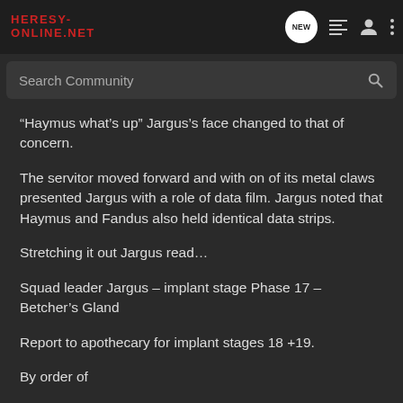Heresy-Online.net
“Haymus what’s up” Jargus’s face changed to that of concern.
The servitor moved forward and with on of its metal claws presented Jargus with a role of data film. Jargus noted that Haymus and Fandus also held identical data strips.
Stretching it out Jargus read…
Squad leader Jargus – implant stage Phase 17 – Betcher’s Gland
Report to apothecary for implant stages 18 +19.
By order of